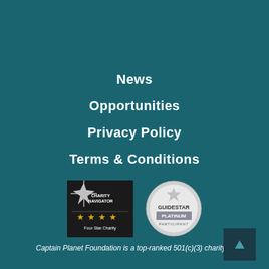News
Opportunities
Privacy Policy
Terms & Conditions
[Figure (logo): Charity Navigator Four Star Charity badge — black square with compass/star icon and four gold stars]
[Figure (logo): GuideStar Platinum Participant badge — silver circular seal]
Captain Planet Foundation is a top-ranked 501(c)(3) charity.